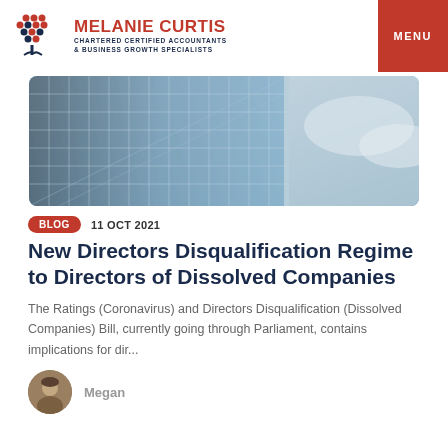MELANIE CURTIS CHARTERED CERTIFIED ACCOUNTANTS & BUSINESS GROWTH SPECIALISTS | MENU
[Figure (photo): Exterior photo of a modern glass-facade skyscraper building viewed from below against a cloudy sky]
BLOG  11 OCT 2021
New Directors Disqualification Regime to Directors of Dissolved Companies
The Ratings (Coronavirus) and Directors Disqualification (Dissolved Companies) Bill, currently going through Parliament, contains implications for dir...
Megan